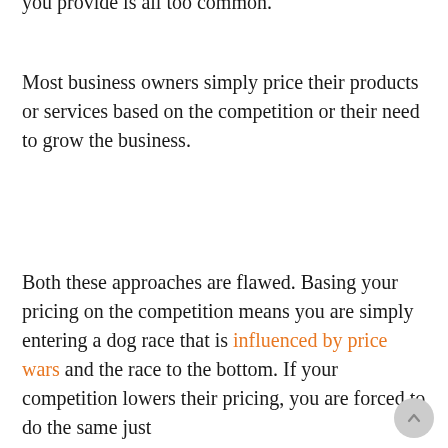you provide is all too common.
Most business owners simply price their products or services based on the competition or their need to grow the business.
Both these approaches are flawed. Basing your pricing on the competition means you are simply entering a dog race that is influenced by price wars and the race to the bottom. If your competition lowers their pricing, you are forced to do the same just